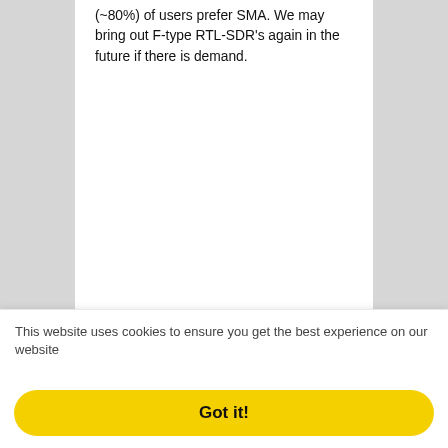(~80%) of users prefer SMA. We may bring out F-type RTL-SDR's again in the future if there is demand.
This website uses cookies to ensure you get the best experience on our website
Got it!